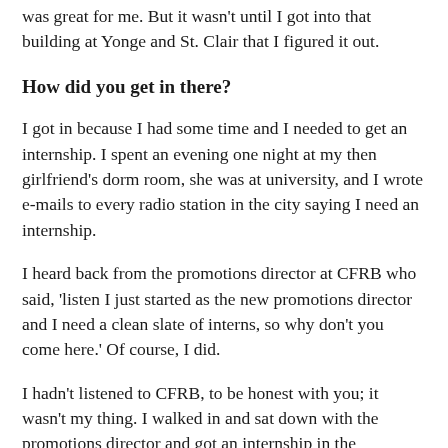was great for me. But it wasn't until I got into that building at Yonge and St. Clair that I figured it out.
How did you get in there?
I got in because I had some time and I needed to get an internship. I spent an evening one night at my then girlfriend's dorm room, she was at university, and I wrote e-mails to every radio station in the city saying I need an internship.
I heard back from the promotions director at CFRB who said, 'listen I just started as the new promotions director and I need a clean slate of interns, so why don't you come here.' Of course, I did.
I hadn't listened to CFRB, to be honest with you; it wasn't my thing. I walked in and sat down with the promotions director and got an internship in the promotions department.